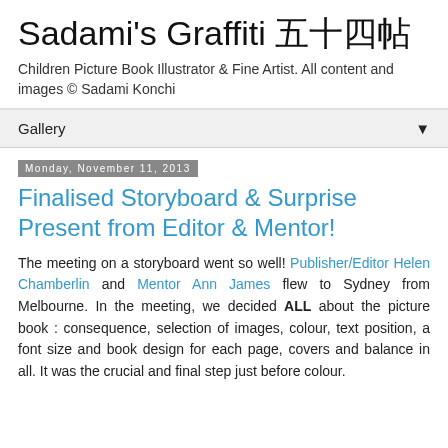Sadami's Graffiti 五十四帖
Children Picture Book Illustrator & Fine Artist. All content and images © Sadami Konchi
Gallery ▼
Monday, November 11, 2013
Finalised Storyboard & Surprise Present from Editor & Mentor!
The meeting on a storyboard went so well! Publisher/Editor Helen Chamberlin and Mentor Ann James flew to Sydney from Melbourne. In the meeting, we decided ALL about the picture book : consequence, selection of images, colour, text position, a font size and book design for each page, covers and balance in all. It was the crucial and final step just before colour.